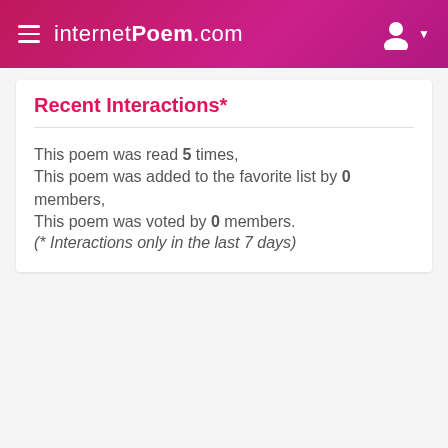internetPoem.com
Recent Interactions*
This poem was read 5 times,
This poem was added to the favorite list by 0 members,
This poem was voted by 0 members.
(* Interactions only in the last 7 days)